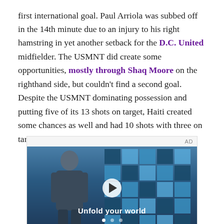first international goal. Paul Arriola was subbed off in the 14th minute due to an injury to his right hamstring in yet another setback for the D.C. United midfielder. The USMNT did create some opportunities, mostly through Shaq Moore on the righthand side, but couldn't find a second goal. Despite the USMNT dominating possession and putting five of its 13 shots on target, Haiti created some chances as well and had 10 shots with three on target.
[Figure (other): Video advertisement showing a young man standing in what appears to be a store or transit area with blue tiled windows in the background. A play button is overlaid in the center. Text reads 'Unfold your world'. AD label appears in top right corner.]